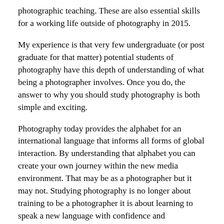photographic teaching. These are also essential skills for a working life outside of photography in 2015.
My experience is that very few undergraduate (or post graduate for that matter) potential students of photography have this depth of understanding of what being a photographer involves. Once you do, the answer to why you should study photography is both simple and exciting.
Photography today provides the alphabet for an international language that informs all forms of global interaction. By understanding that alphabet you can create your own journey within the new media environment. That may be as a photographer but it may not. Studying photography is no longer about training to be a photographer it is about learning to speak a new language with confidence and understanding.
Grant Scott is the founder/curator of the United Nations of Photography, a Senior Lecturer in Editorial and Advertising Photography at the University of Gloucestershire, a working